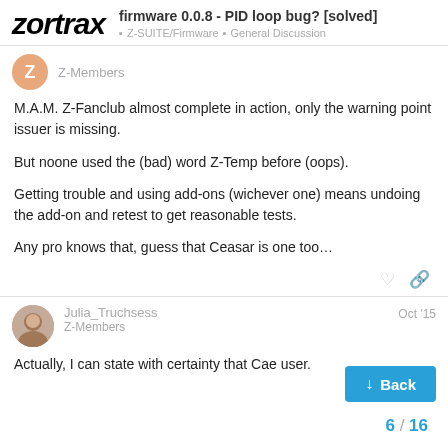zortrax | firmware 0.0.8 - PID loop bug? [solved] | Z-SUITE/Firmware | General Discussion
Z-Members
M.A.M. Z-Fanclub almost complete in action, only the warning point issuer is missing.

But noone used the (bad) word Z-Temp before (oops).

Getting trouble and using add-ons (wichever one) means undoing the add-on and retest to get reasonable tests.

Any pro knows that, guess that Ceasar is one too…
Julia_Truchsess
Z-Members
Oct '15
Actually, I can state with certainty that Cae… user.